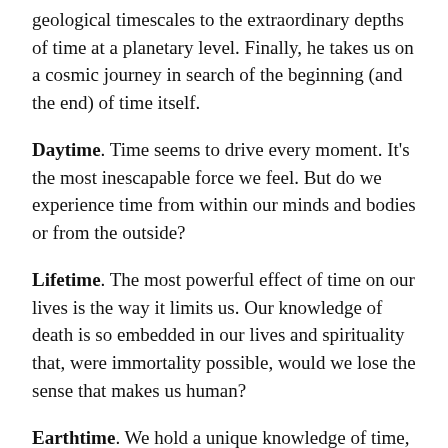geological timescales to the extraordinary depths of time at a planetary level. Finally, he takes us on a cosmic journey in search of the beginning (and the end) of time itself.
Daytime. Time seems to drive every moment. It's the most inescapable force we feel. But do we experience time from within our minds and bodies or from the outside?
Lifetime. The most powerful effect of time on our lives is the way it limits us. Our knowledge of death is so embedded in our lives and spirituality that, were immortality possible, would we lose the sense that makes us human?
Earthtime. We hold a unique knowledge of time, realising that it stretches deep into the past, and will continue into the future. How does this affect our sense of who we are?